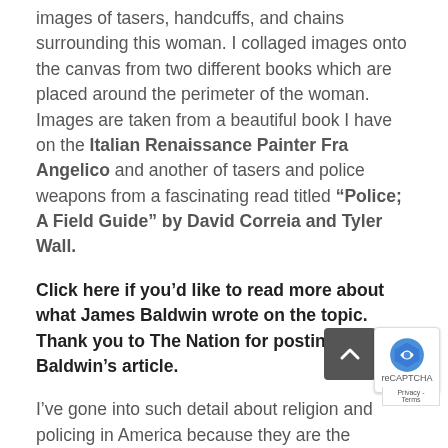images of tasers, handcuffs, and chains surrounding this woman. I collaged images onto the canvas from two different books which are placed around the perimeter of the woman. Images are taken from a beautiful book I have on the Italian Renaissance Painter Fra Angelico and another of tasers and police weapons from a fascinating read titled “Police; A Field Guide” by David Correia and Tyler Wall.
Click here if you’d like to read more about what James Baldwin wrote on the topic. Thank you to The Nation for posting Mr. Baldwin’s article.
I’ve gone into such detail about religion and policing in America because they are the backstory behind my painting Annuit Coeptis. The central idea is that these intertwined social forces are taken for granted so profoundly one almost cannot